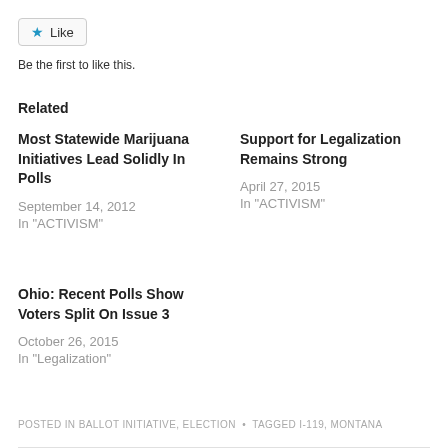★ Like
Be the first to like this.
Related
Most Statewide Marijuana Initiatives Lead Solidly In Polls
September 14, 2012
In "ACTIVISM"
Support for Legalization Remains Strong
April 27, 2015
In "ACTIVISM"
Ohio: Recent Polls Show Voters Split On Issue 3
October 26, 2015
In "Legalization"
POSTED IN BALLOT INITIATIVE, ELECTION  •  TAGGED I-119, MONTANA